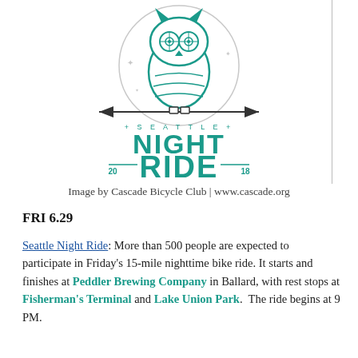[Figure (logo): Seattle Night Ride 2018 logo by Cascade Bicycle Club featuring a teal owl with bicycle wheels for eyes perched on an arrow, with the text '+ SEATTLE +' and 'NIGHT RIDE' in large teal lettering, and '20 18' flanking the word RIDE]
Image by Cascade Bicycle Club | www.cascade.org
FRI 6.29
Seattle Night Ride: More than 500 people are expected to participate in Friday's 15-mile nighttime bike ride. It starts and finishes at Peddler Brewing Company in Ballard, with rest stops at Fisherman's Terminal and Lake Union Park.  The ride begins at 9 PM.